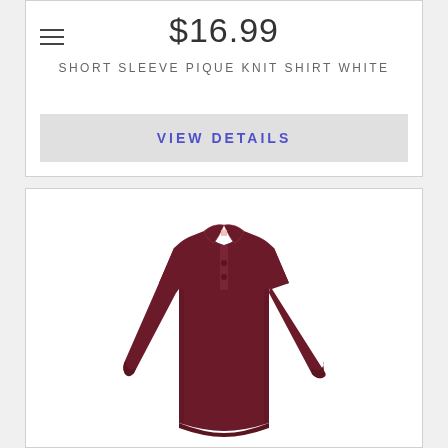$16.99
SHORT SLEEVE PIQUE KNIT SHIRT WHITE
VIEW DETAILS
[Figure (photo): A maroon/burgundy long sleeve pique knit polo shirt laid flat on a white background, shown from the front.]